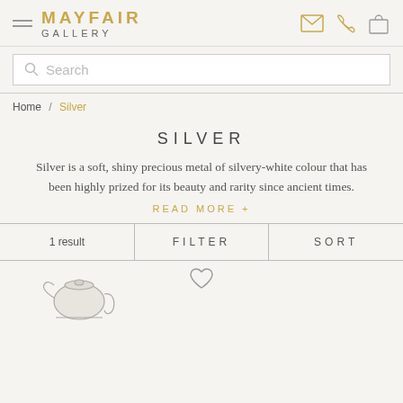MAYFAIR GALLERY
Search
Home / Silver
SILVER
Silver is a soft, shiny precious metal of silvery-white colour that has been highly prized for its beauty and rarity since ancient times.
READ MORE +
1 result   FILTER   SORT
[Figure (photo): Silver teapot product image with heart/wishlist icon above it]